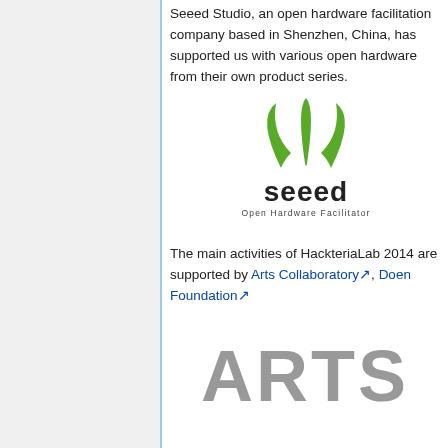Seeed Studio, an open hardware facilitation company based in Shenzhen, China, has supported us with various open hardware from their own product series.
[Figure (logo): Seeed Studio logo — green stylized plant/sprout icon above the word 'seeed' in bold black letters, with 'Open Hardware Facilitator' tagline below]
The main activities of HackteriaLab 2014 are supported by Arts Collaboratory, Doen Foundation
[Figure (logo): Arts Collaboratory logo — large bold grey letters 'ARTS' partially visible at bottom of page]